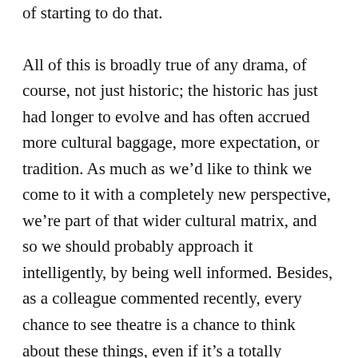of starting to do that.
All of this is broadly true of any drama, of course, not just historic; the historic has just had longer to evolve and has often accrued more cultural baggage, more expectation, or tradition. As much as we’d like to think we come to it with a completely new perspective, we’re part of that wider cultural matrix, and so we should probably approach it intelligently, by being well informed. Besides, as a colleague commented recently, every chance to see theatre is a chance to think about these things, even if it’s a totally different play – you should go any chance you get. There are, as this very situation points out, always